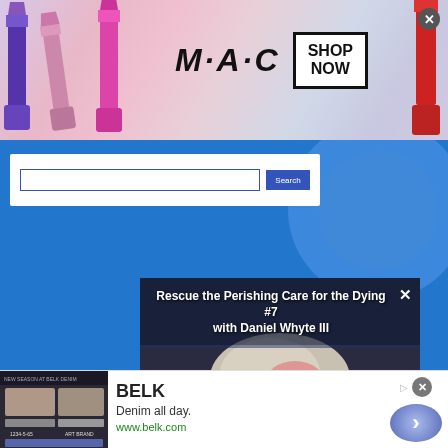[Figure (photo): MAC Cosmetics advertisement banner with lipsticks, MAC logo, and SHOP NOW button]
[Figure (screenshot): Blue website background with white search bar widget]
[Figure (photo): Embedded video player showing 'Rescue the Perishing Care for the Dying #7 with Daniel Whyte III' with a person wearing glasses]
[Figure (photo): BELK advertisement at bottom - Denim all day, www.belk.com with blue circle arrow button]